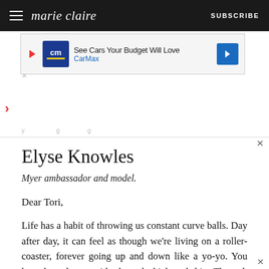marie claire  SUBSCRIBE
[Figure (other): CarMax advertisement banner: 'See Cars Your Budget Will Love' with CarMax logo and blue arrow]
Elyse Knowles
Myer ambassador and model.
Dear Tori,
Life has a habit of throwing us constant curve balls. Day after day, it can feel as though we're living on a roller-coaster, forever going up and down like a yo-yo. You have been by my side through thick and thin. Through the good times and bad, you've been there with me. We first met years ago when I modelled for